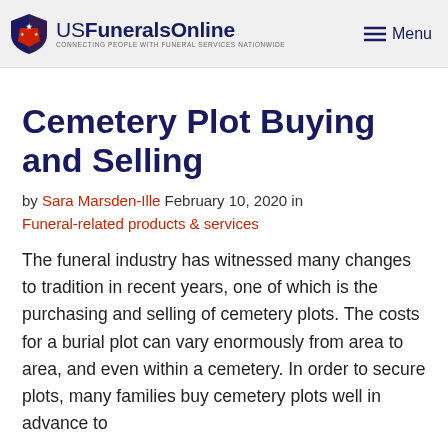USFuneralsOnline — CONNECTING PEOPLE WITH FUNERAL SERVICES NATIONWIDE | Menu
Cemetery Plot Buying and Selling
by Sara Marsden-Ille February 10, 2020 in
Funeral-related products & services
The funeral industry has witnessed many changes to tradition in recent years, one of which is the purchasing and selling of cemetery plots.  The costs for a burial plot can vary enormously from area to area, and even within a cemetery.  In order to secure plots, many families buy cemetery plots well in advance to